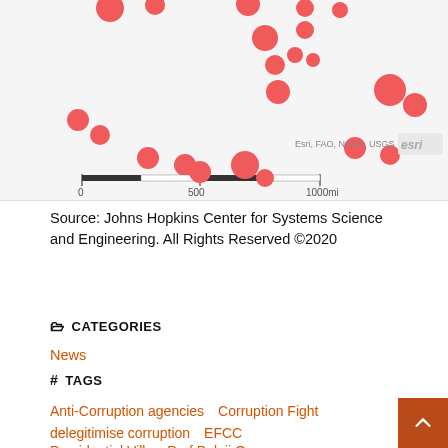[Figure (map): World map with red dots indicating locations, partial view showing top portion. Scale bar shows 0 to 1000mi. Attribution: Esri, FAO, NOAA, USGS with Esri logo.]
Source: Johns Hopkins Center for Systems Science and Engineering. All Rights Reserved ©2020
CATEGORIES
News
TAGS
Anti-Corruption agencies  Corruption Fight  delegitimise corruption  EFCC  Hadiza Bala Usman  laolu akande  NPA  PACAC  Presidential Villa  Prof Bolaji Owasanye